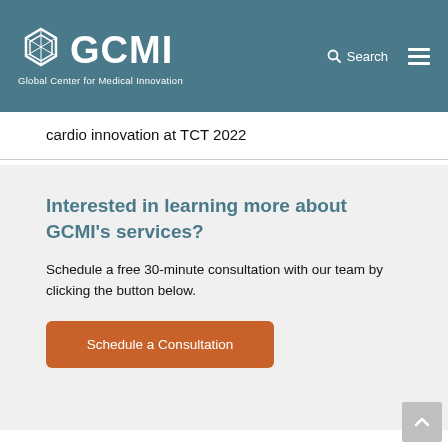GCMI — Global Center for Medical Innovation
cardio innovation at TCT 2022
Interested in learning more about GCMI's services?
Schedule a free 30-minute consultation with our team by clicking the button below.
Schedule a Consultation